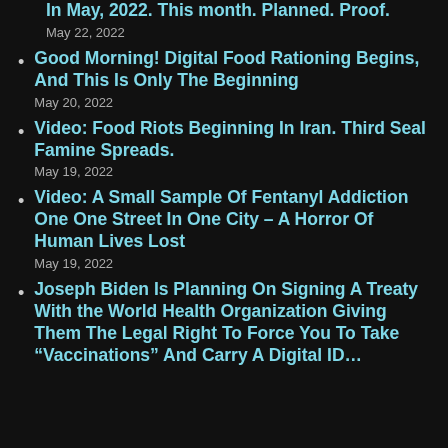In May, 2022. This month. Planned. Proof.
Good Morning! Digital Food Rationing Begins, And This Is Only The Beginning
Video: Food Riots Beginning In Iran. Third Seal Famine Spreads.
Video: A Small Sample Of Fentanyl Addiction One One Street In One City – A Horror Of Human Lives Lost
Joseph Biden Is Planning On Signing A Treaty With the World Health Organization Giving Them The Legal Right To Force You To Take “Vaccinations” And Carry A Digital ID…